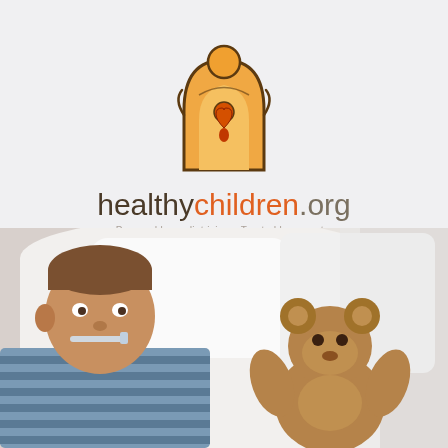[Figure (logo): healthychildren.org logo: stylized orange adult figure with child inside, forming arch shape with heart]
healthychildren.org
Powered by pediatricians. Trusted by parents.
[Figure (photo): Sick young boy lying in bed with thermometer in mouth, white pillows behind him, teddy bear beside him, wearing striped shirt]